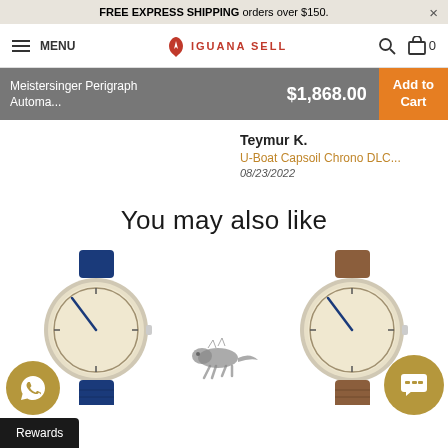FREE EXPRESS SHIPPING orders over $150.
MENU  IGUANA SELL  0
Meistersinger Perigraph Automa...  $1,868.00  Add to Cart
Teymur K.
U-Boat Capsoil Chrono DLC...
08/23/2022
You may also like
[Figure (photo): Watch with blue strap - Meistersinger single-hand watch with cream dial and navy blue leather strap]
[Figure (logo): Iguana Sell iguana logo illustration]
[Figure (photo): Watch with brown strap - Meistersinger single-hand watch with cream dial and tan brown leather strap]